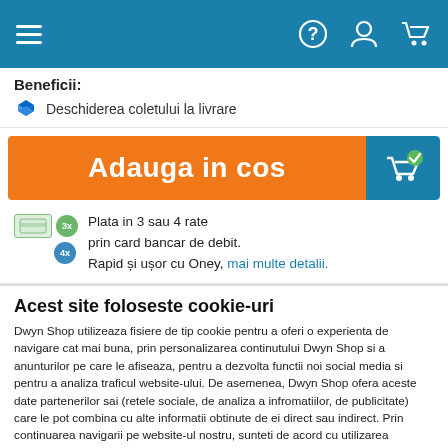Navigation bar with menu, help, account, and cart icons
Beneficii:
Deschiderea coletului la livrare
[Figure (other): Orange 'Adauga in cos' (Add to cart) button with teal cart icon on right]
Plata in 3 sau 4 rate prin card bancar de debit. Rapid și ușor cu Oney, mai multe detalii.
Acest site foloseste cookie-uri
Dwyn Shop utilizeaza fisiere de tip cookie pentru a oferi o experienta de navigare cat mai buna, prin personalizarea continutului Dwyn Shop si a anunturilor pe care le afiseaza, pentru a dezvolta functii noi social media si pentru a analiza traficul website-ului. De asemenea, Dwyn Shop ofera aceste date partenerilor sai (retele sociale, de analiza a infromatiilor, de publicitate) care le pot combina cu alte informatii obtinute de ei direct sau indirect. Prin continuarea navigarii pe website-ul nostru, sunteti de acord cu utilizarea modulelor noastre cookie.
Politica de Cookie | Politica de Confidentialitate
Accept | Setari